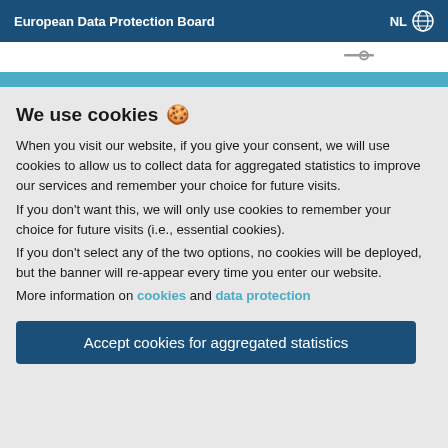European Data Protection Board   NL 🌐
We use cookies 🍪
When you visit our website, if you give your consent, we will use cookies to allow us to collect data for aggregated statistics to improve our services and remember your choice for future visits.
If you don't want this, we will only use cookies to remember your choice for future visits (i.e., essential cookies).
If you don't select any of the two options, no cookies will be deployed, but the banner will re-appear every time you enter our website.
More information on cookies and data protection
Accept cookies for aggregated statistics